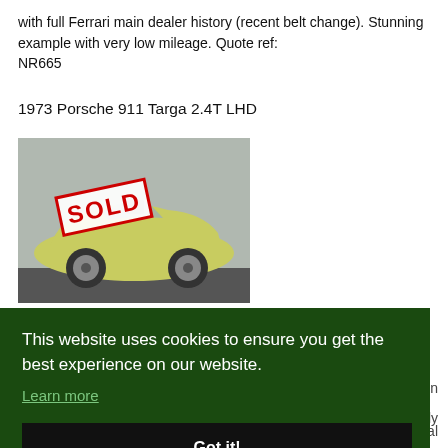with full Ferrari main dealer history (recent belt change). Stunning example with very low mileage. Quote ref: NR665
1973 Porsche 911 Targa 2.4T LHD
[Figure (photo): Photo of a yellow-green 1973 Porsche 911 Targa with a red SOLD stamp overlaid on the image]
This website uses cookies to ensure you get the best experience on our website.
Learn more
Got it!
1996 Porsche Carrera 2 Cabriolet Tiptronic,